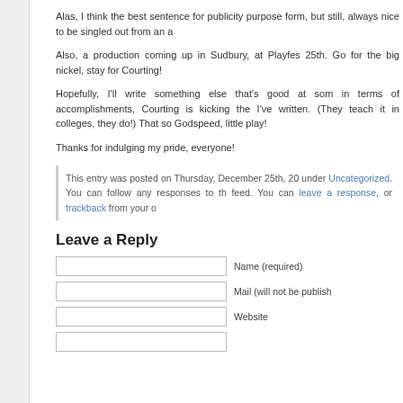Alas, I think the best sentence for publicity purpose form, but still, always nice to be singled out from an a
Also, a production coming up in Sudbury, at Playfes 25th. Go for the big nickel, stay for Courting!
Hopefully, I'll write something else that's good at som in terms of accomplishments, Courting is kicking the I've written. (They teach it in colleges, they do!) That so Godspeed, little play!
Thanks for indulging my pride, everyone!
This entry was posted on Thursday, December 25th, 20 under Uncategorized. You can follow any responses to th feed. You can leave a response, or trackback from your o
Leave a Reply
Name (required)
Mail (will not be publish
Website